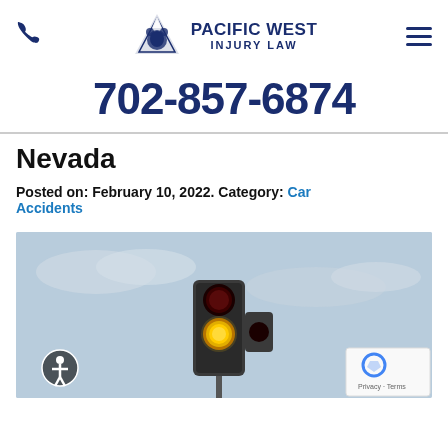Pacific West Injury Law | 702-857-6874
Nevada
Posted on: February 10, 2022. Category: Car Accidents
[Figure (photo): A traffic light showing a yellow/amber light against a light blue sky background]